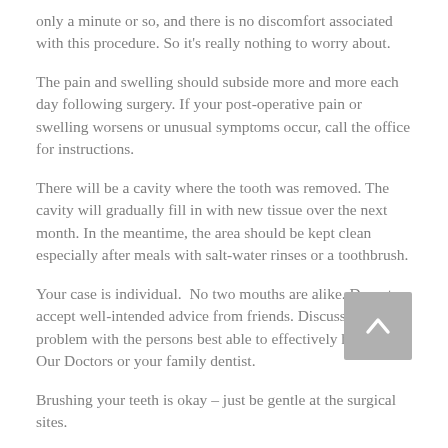only a minute or so, and there is no discomfort associated with this procedure. So it's really nothing to worry about.
The pain and swelling should subside more and more each day following surgery. If your post-operative pain or swelling worsens or unusual symptoms occur, call the office for instructions.
There will be a cavity where the tooth was removed. The cavity will gradually fill in with new tissue over the next month. In the meantime, the area should be kept clean especially after meals with salt-water rinses or a toothbrush.
Your case is individual.  No two mouths are alike. Do not accept well-intended advice from friends. Discuss your problem with the persons best able to effectively help you: Our Doctors or your family dentist.
Brushing your teeth is okay – just be gentle at the surgical sites.